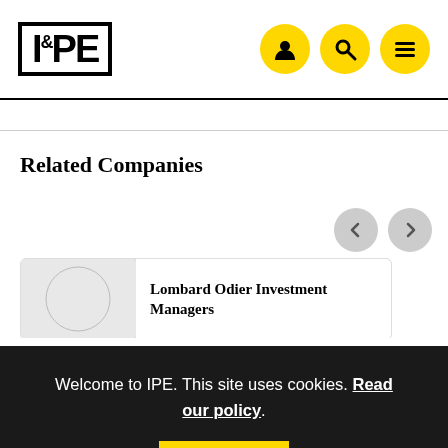IPE
Related Companies
Lombard Odier Investment Managers
Welcome to IPE. This site uses cookies. Read our policy.
[Figure (logo): Trefoil/nuclear symbol logo in pink/red color at bottom of page]